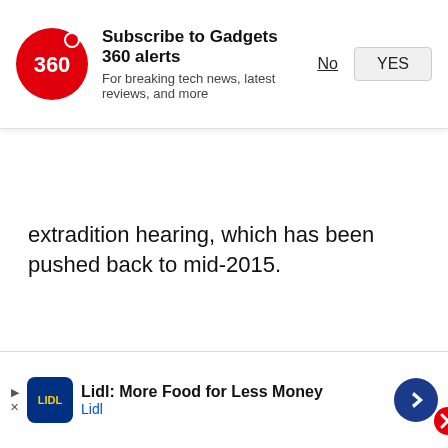[Figure (screenshot): Gadgets 360 subscription alert banner with red circular logo showing '360', bold headline 'Subscribe to Gadgets 360 alerts', subtext 'For breaking tech news, latest reviews, and more', and two buttons: 'No' (underlined) and 'YES' (button)]
extradition hearing, which has been pushed back to mid-2015.
Advertisement
[Figure (screenshot): Video widget showing a dark smartphone on pink background with a red play button overlay, and a red close button (X) in top right corner]
[Figure (screenshot): Bottom advertisement banner for Lidl: 'Lidl: More Food for Less Money' with Lidl logo and navigation arrow icon]